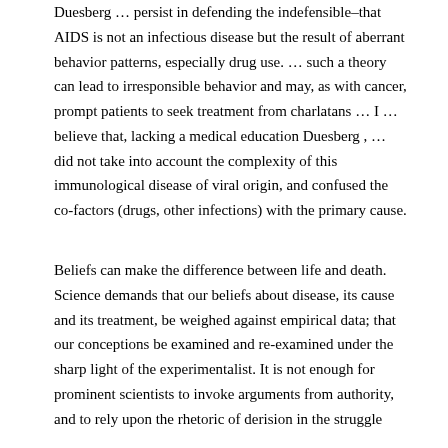Duesberg … persist in defending the indefensible–that AIDS is not an infectious disease but the result of aberrant behavior patterns, especially drug use. … such a theory can lead to irresponsible behavior and may, as with cancer, prompt patients to seek treatment from charlatans … I … believe that, lacking a medical education Duesberg , … did not take into account the complexity of this immunological disease of viral origin, and confused the co-factors (drugs, other infections) with the primary cause.
Beliefs can make the difference between life and death. Science demands that our beliefs about disease, its cause and its treatment, be weighed against empirical data; that our conceptions be examined and re-examined under the sharp light of the experimentalist. It is not enough for prominent scientists to invoke arguments from authority, and to rely upon the rhetoric of derision in the struggle